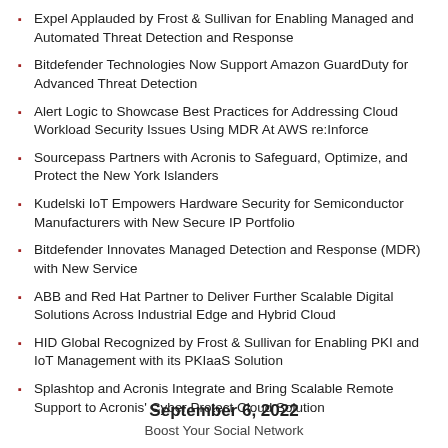Expel Applauded by Frost & Sullivan for Enabling Managed and Automated Threat Detection and Response
Bitdefender Technologies Now Support Amazon GuardDuty for Advanced Threat Detection
Alert Logic to Showcase Best Practices for Addressing Cloud Workload Security Issues Using MDR At AWS re:Inforce
Sourcepass Partners with Acronis to Safeguard, Optimize, and Protect the New York Islanders
Kudelski IoT Empowers Hardware Security for Semiconductor Manufacturers with New Secure IP Portfolio
Bitdefender Innovates Managed Detection and Response (MDR) with New Service
ABB and Red Hat Partner to Deliver Further Scalable Digital Solutions Across Industrial Edge and Hybrid Cloud
HID Global Recognized by Frost & Sullivan for Enabling PKI and IoT Management with its PKIaaS Solution
Splashtop and Acronis Integrate and Bring Scalable Remote Support to Acronis' Cyber Protect Cloud Solution
September 6, 2022
Boost Your Social Network